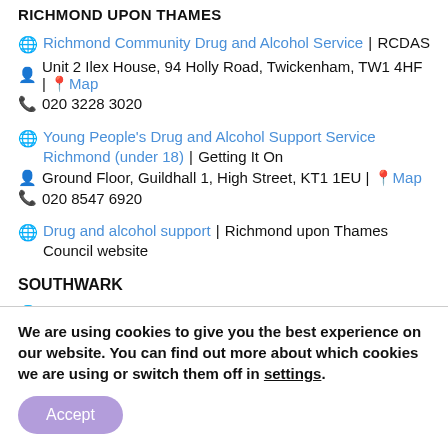RICHMOND UPON THAMES
Richmond Community Drug and Alcohol Service | RCDAS
Unit 2 Ilex House, 94 Holly Road, Twickenham, TW1 4HF | Map
020 3228 3020
Young People's Drug and Alcohol Support Service Richmond (under 18) | Getting It On
Ground Floor, Guildhall 1, High Street, KT1 1EU | Map
020 8547 6920
Drug and alcohol support | Richmond upon Thames Council website
SOUTHWARK
CGL Southwark | Change Grow Live (CGL)
We are using cookies to give you the best experience on our website. You can find out more about which cookies we are using or switch them off in settings.